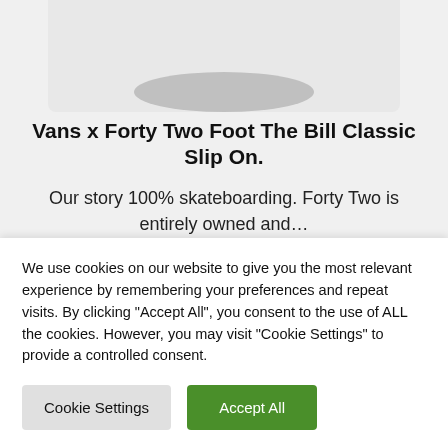[Figure (photo): Partial view of a Vans slip-on shoe, showing the bottom/sole area against a light gray background]
Vans x Forty Two Foot The Bill Classic Slip On.
Our story 100% skateboarding. Forty Two is entirely owned and…
We use cookies on our website to give you the most relevant experience by remembering your preferences and repeat visits. By clicking "Accept All", you consent to the use of ALL the cookies. However, you may visit "Cookie Settings" to provide a controlled consent.